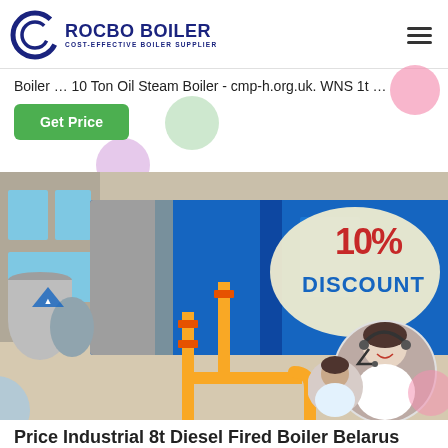ROCBO BOILER — COST-EFFECTIVE BOILER SUPPLIER
Boiler … 10 Ton Oil Steam Boiler - cmp-h.org.uk. WNS 1t …
Get Price
[Figure (photo): Industrial boiler installation in a facility with blue and grey boiler unit, yellow gas pipes, and a 10% DISCOUNT overlay badge with a customer service representative photo inset.]
Price Industrial 8t Diesel Fired Boiler Belarus